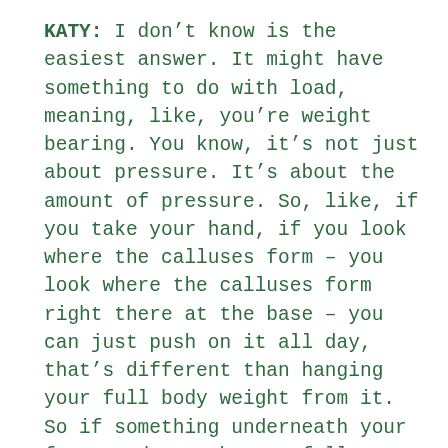KATY: I don't know is the easiest answer. It might have something to do with load, meaning, like, you're weight bearing. You know, it's not just about pressure. It's about the amount of pressure. So, like, if you take your hand, if you look where the calluses form – you look where the calluses form right there at the base – you can just push on it all day, that's different than hanging your full body weight from it. So if something underneath your foot, underneath your full weight is different, you know, than lightly squeezing a little bit. So that it probably has less to do with just the fact that the load isn't enough to warrant – like, your body's always making an energetic cost, right? If it didn't have to